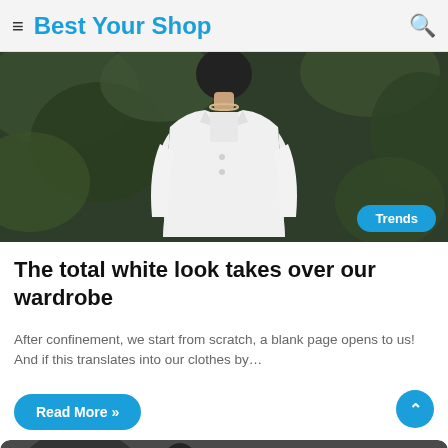Best Your Shop
[Figure (photo): Woman wearing a white blazer and pearl necklace, standing in front of green foliage. A 'Trends' badge overlay appears in the bottom right.]
The total white look takes over our wardrobe
After confinement, we start from scratch, a blank page opens to us! And if this translates into our clothes by…
Read More »
[Figure (photo): Partial view of a second article image at the bottom of the page.]